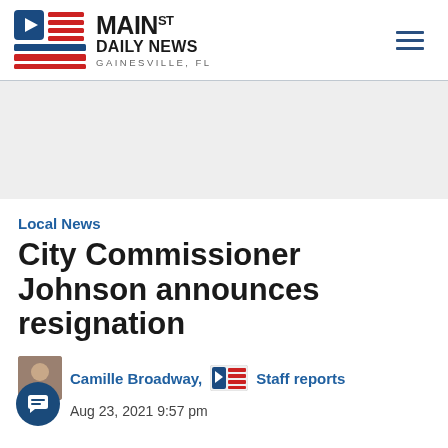[Figure (logo): Main St Daily News logo — flag icon with play button, horizontal stripes in blue and red, text MAIN ST DAILY NEWS GAINESVILLE, FL]
Local News
City Commissioner Johnson announces resignation
Camille Broadway, Staff reports
Aug 23, 2021 9:57 pm